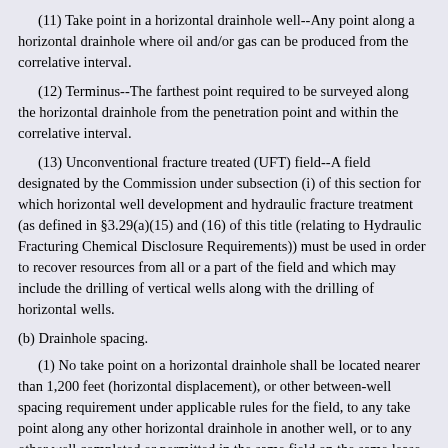(11) Take point in a horizontal drainhole well--Any point along a horizontal drainhole where oil and/or gas can be produced from the correlative interval.
(12) Terminus--The farthest point required to be surveyed along the horizontal drainhole from the penetration point and within the correlative interval.
(13) Unconventional fracture treated (UFT) field--A field designated by the Commission under subsection (i) of this section for which horizontal well development and hydraulic fracture treatment (as defined in §3.29(a)(15) and (16) of this title (relating to Hydraulic Fracturing Chemical Disclosure Requirements)) must be used in order to recover resources from all or a part of the field and which may include the drilling of vertical wells along with the drilling of horizontal wells.
(b) Drainhole spacing.
(1) No take point on a horizontal drainhole shall be located nearer than 1,200 feet (horizontal displacement), or other between-well spacing requirement under applicable rules for the field, to any take point along any other horizontal drainhole in another well, or to any other well completed or permitted in the same field on the same lease, pooled unit, or unitized tract.